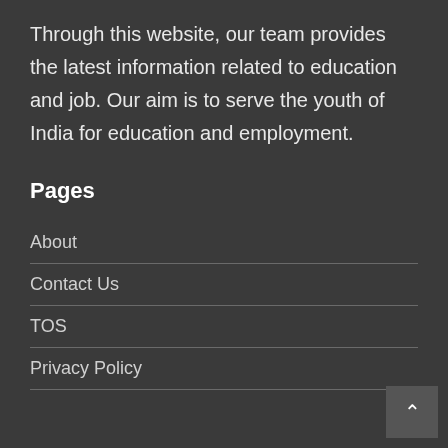Through this website, our team provides the latest information related to education and job. Our aim is to serve the youth of India for education and employment.
Pages
About
Contact Us
TOS
Privacy Policy